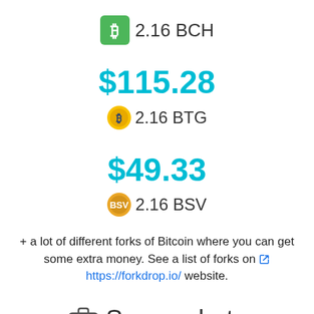[Figure (logo): BCH (Bitcoin Cash) green icon with B symbol followed by text 2.16 BCH]
$115.28
[Figure (logo): BTG (Bitcoin Gold) gold coin icon followed by text 2.16 BTG]
$49.33
[Figure (logo): BSV (Bitcoin SV) gold/orange icon followed by text 2.16 BSV]
+ a lot of different forks of Bitcoin where you can get some extra money. See a list of forks on https://forkdrop.io/ website.
Screenshots